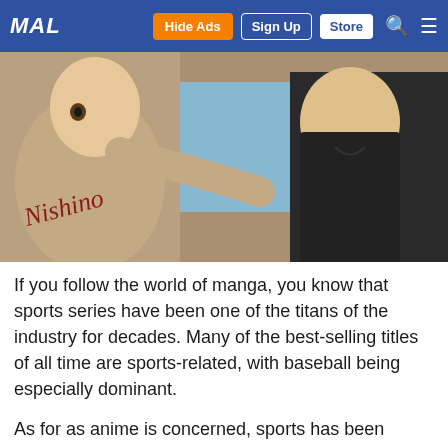MAL | Hide Ads | Sign Up | Store
[Figure (screenshot): Anime screenshot showing manga/baseball characters with 'Nishino' text visible on uniforms, light blue and tan color scheme]
If you follow the world of manga, you know that sports series have been one of the titans of the industry for decades. Many of the best-selling titles of all time are sports-related, with baseball being especially dominant.
As for as anime is concerned, sports has been around for a long time too, and popular - Adachi Mitsuru's Touch remains the most popular TV anime in history in terms of ratings (which were the main gauge in the days before disc sales were king) and social impact. But in the modern era, sports anime has existed in a sort of subdivision apart from that inhabited by hardcore anime fans - they were popular and often drew decent TV ratings, but rarely sold many discs or made much of a splash with fans in the West.
[Figure (screenshot): Bottom strip showing anime character with orange hair, and a green exit sign panel]